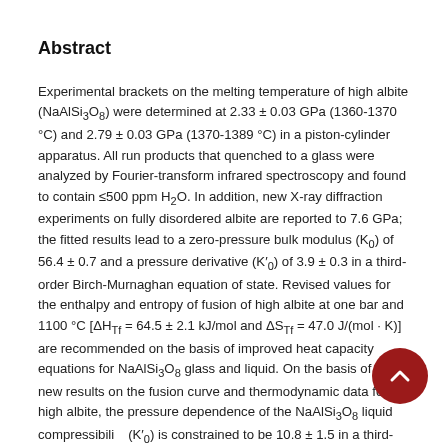Abstract
Experimental brackets on the melting temperature of high albite (NaAlSi₃O₈) were determined at 2.33 ± 0.03 GPa (1360-1370 °C) and 2.79 ± 0.03 GPa (1370-1389 °C) in a piston-cylinder apparatus. All run products that quenched to a glass were analyzed by Fourier-transform infrared spectroscopy and found to contain ≤500 ppm H₂O. In addition, new X-ray diffraction experiments on fully disordered albite are reported to 7.6 GPa; the fitted results lead to a zero-pressure bulk modulus (K₀) of 56.4 ± 0.7 and a pressure derivative (K′₀) of 3.9 ± 0.3 in a third-order Birch-Murnaghan equation of state. Revised values for the enthalpy and entropy of fusion of high albite at one bar and 1100 °C [ΔH_Tf = 64.5 ± 2.1 kJ/mol and ΔS_Tf = 47.0 J/(mol·K)] are recommended on the basis of improved heat capacity equations for NaAlSi₃O₈ glass and liquid. On the basis of these new results on the fusion curve and thermodynamic data for high albite, the pressure dependence of the NaAlSi₃O₈ liquid compressibility (K′₀) is constrained to be 10.8 ± 1.5 in a third-order Birch-Murnaghan equation of state. The uncertainty in K′₀ of ± 1.5